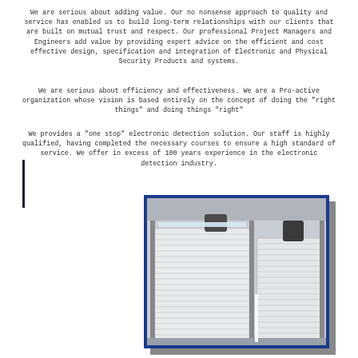We are serious about adding value. Our no nonsense approach to quality and service has enabled us to build long-term relationships with our clients that are built on mutual trust and respect. Our professional Project Managers and Engineers add value by providing expert advice on the efficient and cost effective design, specification and integration of Electronic and Physical Security Products and systems.
We are serious about efficiency and effectiveness. We are a Pro-active organization whose vision is based entirely on the concept of doing the "right things" and doing things "right"
We provides a "one stop" electronic detection solution. Our staff is highly qualified, having completed the necessary courses to ensure a high standard of service. We offer in excess of 100 years experience in the electronic detection industry.
[Figure (photo): Indoor photo of white roller shutter doors/shutters mounted on a wall with metal tracks and motors visible at the top. Industrial security shutters in a warehouse or commercial building interior.]